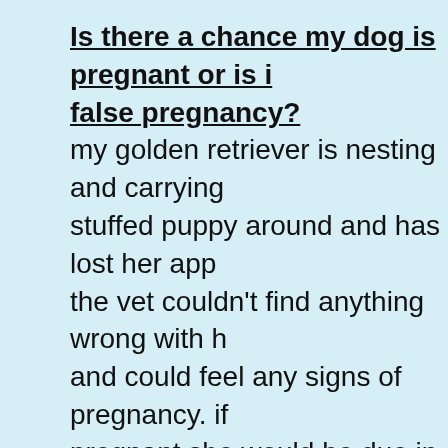Is there a chance my dog is pregnant or is it a false pregnancy?
my golden retriever is nesting and carrying a stuffed puppy around and has lost her appetite. the vet couldn't find anything wrong with her and could feel any signs of pregnancy. if pregnant she would be due in the next couple weeks. she hasn't shown any of these since until just a few days ago.
How many puppies can a dog have
how many puppies can a dog have
My chihuahua gave birth to 4 puppies, can there be more
my chihuahua gave birth to 4 puppies,but s